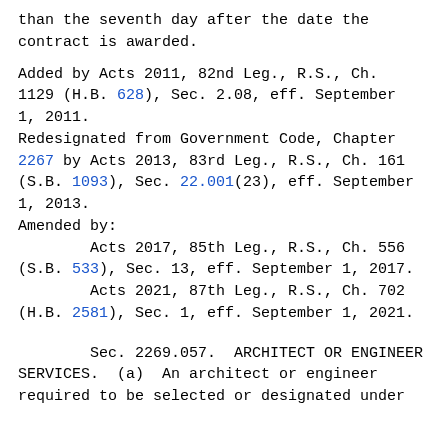than the seventh day after the date the contract is awarded.
Added by Acts 2011, 82nd Leg., R.S., Ch. 1129 (H.B. 628), Sec. 2.08, eff. September 1, 2011.
Redesignated from Government Code, Chapter 2267 by Acts 2013, 83rd Leg., R.S., Ch. 161 (S.B. 1093), Sec. 22.001(23), eff. September 1, 2013.
Amended by:
        Acts 2017, 85th Leg., R.S., Ch. 556 (S.B. 533), Sec. 13, eff. September 1, 2017.
        Acts 2021, 87th Leg., R.S., Ch. 702 (H.B. 2581), Sec. 1, eff. September 1, 2021.
Sec. 2269.057.  ARCHITECT OR ENGINEER SERVICES.  (a)  An architect or engineer required to be selected or designated under